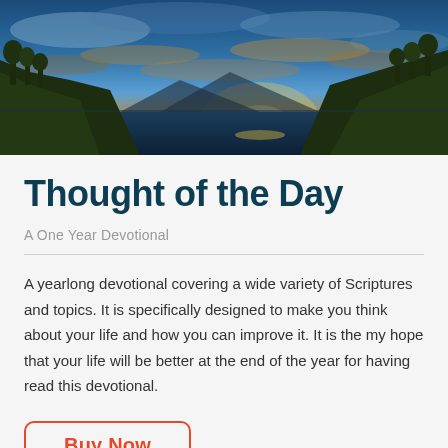[Figure (photo): Panoramic sunset photograph over a coastal cliff scene with dramatic orange and blue sky, sun setting over water, vegetation and cliffs on both sides]
Thought of the Day
A One Year Devotional
A yearlong devotional covering a wide variety of Scriptures and topics. It is specifically designed to make you think about your life and how you can improve it. It is the my hope that your life will be better at the end of the year for having read this devotional.
Buy Now